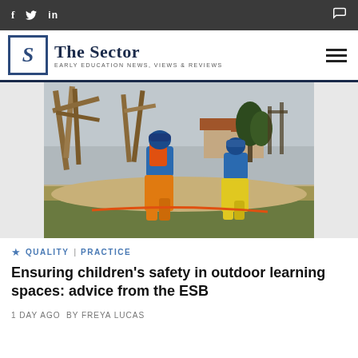f  twitter  in  [comment icon]
[Figure (logo): The Sector logo with 'S' in blue box and tagline 'EARLY EDUCATION NEWS, VIEWS & REVIEWS']
[Figure (photo): Two children in colorful rain gear (blue jackets, orange and yellow waterproof overalls) playing on a wooden climbing frame in an outdoor playground setting]
★ QUALITY | PRACTICE
Ensuring children's safety in outdoor learning spaces: advice from the ESB
1 DAY AGO BY FREYA LUCAS